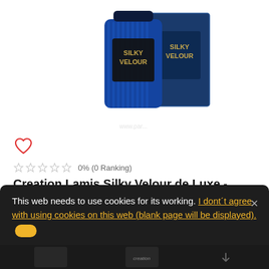[Figure (photo): Product photo of Creation Lamis Silky Velour de Luxe perfume bottle (blue) and its box]
[Figure (illustration): Heart/wishlist icon (outline heart, red)]
0% (0 Ranking)
Creation Lamis Silky Velour de Luxe - pánská toaletní voda - 100 ml
Creation Lamis Silky Velour de Luxe EdT - pro muže - inspirováno ...
189 CZK
Skladem
(8.59 Eur)
This web needs to use cookies for its working. I dont´t agree with using cookies on this web (blank page will be displayed).